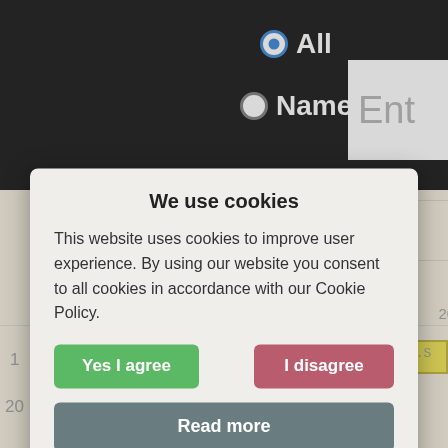[Figure (screenshot): Website UI showing radio buttons for 'All' and 'Name' search options with a text input field, against a dark background.]
[Figure (screenshot): Timeline chart showing years 1800, 2000 on y-axis and 1880, 1940, 1991, 1997, 2003 on x-axis, partially visible behind cookie dialog.]
We use cookies
This website uses cookies to improve user experience. By using our website you consent to all cookies in accordance with our Cookie Policy.
Yes I agree
I disagree
Read more
Free cookie consent by cookie-script.com